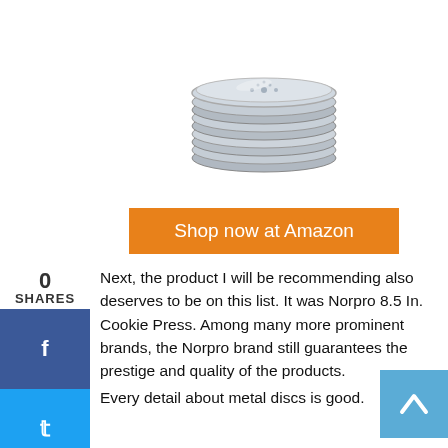[Figure (photo): Stack of metal cookie press discs, silver/gray color, photographed from above at an angle]
Shop now at Amazon
Next, the product I will be recommending also deserves to be on this list. It was Norpro 8.5 In. Cookie Press. Among many more prominent brands, the Norpro brand still guarantees the prestige and quality of the products.
Every detail about metal discs is good.
The product still provides all the necessary functions for you to shape the cookie pieces. The product is made from high-quality aluminum.